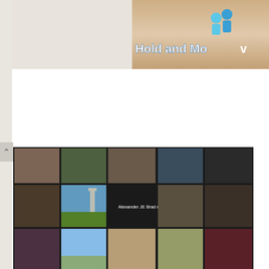[Figure (screenshot): Top right corner partial banner with 'Hold and Mo...' text and blue person icons on sandy background]
[Figure (screenshot): Zoom video call screenshot showing a 5-column grid of participants. Some tiles show faces, others show names: 'Alexander JE Bradley', 'vincent', 'Kate O'Neill', 'Marcy Davis']
Messy Nessy Chic: Hi, Brent! Glad you made it.
Brent Underwood: Yeah, thank you! Excited to dive in. I had a little difficulty connecting.